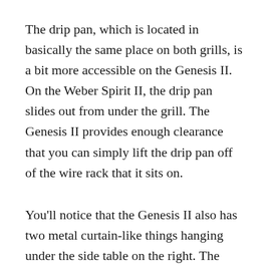The drip pan, which is located in basically the same place on both grills, is a bit more accessible on the Genesis II. On the Weber Spirit II, the drip pan slides out from under the grill. The Genesis II provides enough clearance that you can simply lift the drip pan off of the wire rack that it sits on.
You'll notice that the Genesis II also has two metal curtain-like things hanging under the side table on the right. The Weber Spirit II doesn't have these! The purpose of having those metal thingies is really just cosmetic. On both grills, you mount the propane tank under the